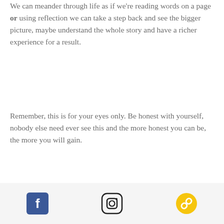We can meander through life as if we're reading words on a page or using reflection we can take a step back and see the bigger picture, maybe understand the whole story and have a richer experience for a result.
Remember, this is for your eyes only. Be honest with yourself, nobody else need ever see this and the more honest you can be, the more you will gain.
If you need/want a little help to get you started, I've made my
[Figure (other): Footer bar with three social media icons: Facebook (blue square with white f), Instagram (square outline with camera), and a yellow/gold circular link/chain icon]